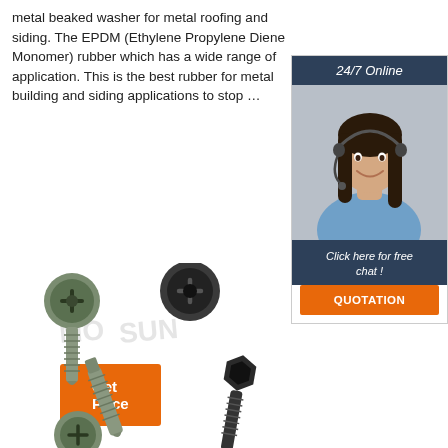metal beaked washer for metal roofing and siding. The EPDM (Ethylene Propylene Diene Monomer) rubber which has a wide range of application. This is the best rubber for metal building and siding applications to stop …
Get Price
[Figure (infographic): Customer service advertisement box with '24/7 Online' header, photo of smiling woman with headset, 'Click here for free chat!' text, and orange QUOTATION button]
[Figure (photo): Multiple screws with EPDM washers shown from different angles against white background with watermark MOOSUN]